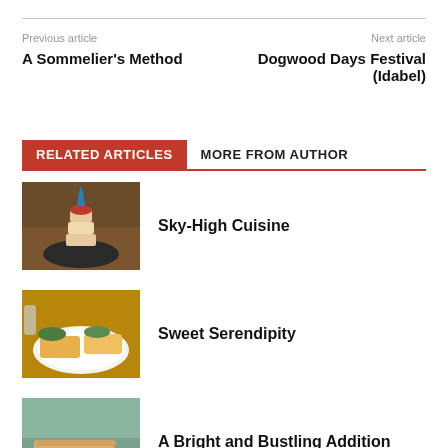Previous article
Next article
A Sommelier's Method
Dogwood Days Festival (Idabel)
RELATED ARTICLES
MORE FROM AUTHOR
[Figure (photo): Tall decorative food dish on a dark plate on a wooden table]
Sky-High Cuisine
[Figure (photo): Plate with colorful food items including what appears to be tacos or flatbreads with green toppings, on a white plate]
Sweet Serendipity
[Figure (photo): Close-up outdoor food photo, appears to be a sandwich or burger]
A Bright and Bustling Addition